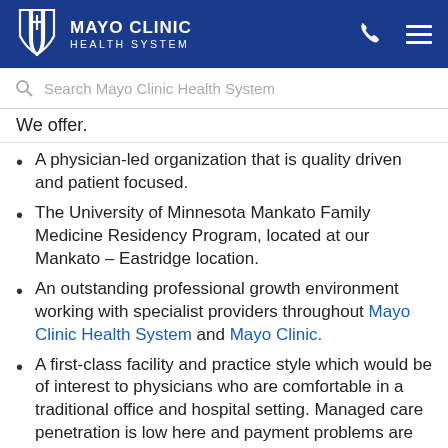MAYO CLINIC HEALTH SYSTEM
Search Mayo Clinic Health System
We offer.
A physician-led organization that is quality driven and patient focused.
The University of Minnesota Mankato Family Medicine Residency Program, located at our Mankato – Eastridge location.
An outstanding professional growth environment working with specialist providers throughout Mayo Clinic Health System and Mayo Clinic.
A first-class facility and practice style which would be of interest to physicians who are comfortable in a traditional office and hospital setting. Managed care penetration is low here and payment problems are